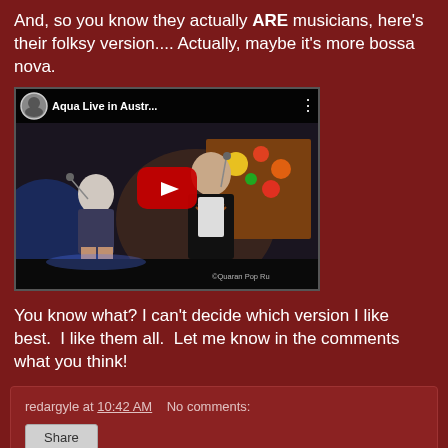And, so you know they actually ARE musicians, here's their folksy version.... Actually, maybe it's more bossa nova.
[Figure (screenshot): YouTube video thumbnail showing 'Aqua Live in Austr...' with two performers on stage, a red play button overlay, and a YouTube-style top bar with avatar and title.]
You know what? I can't decide which version I like best.  I like them all.  Let me know in the comments what you think!
redargyle at 10:42 AM    No comments:
Share